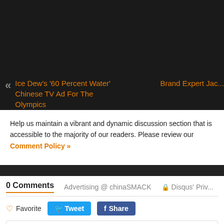[Figure (screenshot): Dark navigation banner at the top of the page]
Ice Dew's '60 Percent Water' Chinese TV Ad For The Olympics
Brand Expert Jac...
Help us maintain a vibrant and dynamic discussion section that is accessible to the majority of our readers. Please review our Comment Policy »
0 Comments   Advertising @ chinaSMACK   Disqus' Priv...
♡ Favorite   Tweet   Share
Start the discussion...
LOG IN WITH   OR SIGN UP WITH DISQUS ?